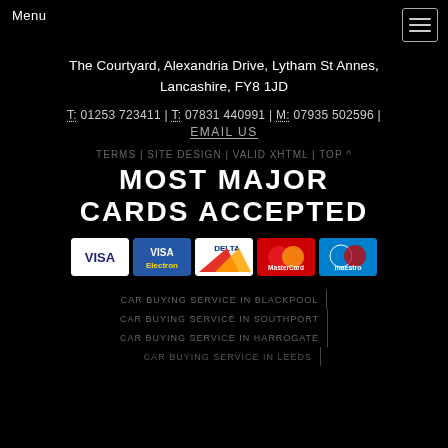Menu
The Courtyard, Alexandria Drive, Lytham St Annes, Lancashire, FY8 1JD
T: 01253 723411 | T: 07831 440991 | M: 07935 502596 | EMAIL US
TERMS | SITE DESIGN | VALID XHTML | TOP ^
MOST MAJOR CARDS ACCEPTED
[Figure (other): Payment card logos: Visa, Visa Electron, Delta, MasterCard, Maestro]
CAR BUYING SERVICE IN BLACKPOOL
CAR BUYING SERVICE IN SOUTHPORT
CAR BUYING SERVICE IN HARROGATE
CAR BUYING SERVICE IN LEEDS